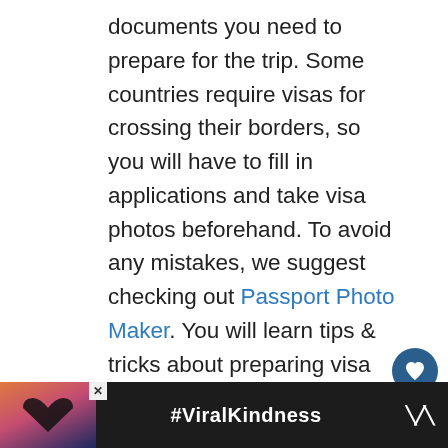documents you need to prepare for the trip. Some countries require visas for crossing their borders, so you will have to fill in applications and take visa photos beforehand. To avoid any mistakes, we suggest checking out Passport Photo Maker. You will learn tips & tricks about preparing visa photos that comply with all the official requirements.
[Figure (other): Heart/favourite button (dark blue circle with white heart icon) and share button (white circle with share icon)]
This year's top destinations guide should be read in conjunction with our post "2021 Family Travel
[Figure (other): WHAT'S NEXT callout box with thumbnail image and text: Top 22 Family Vacation...]
[Figure (other): Advertisement banner with heart silhouette image and #ViralKindness hashtag text, with close button and logo]